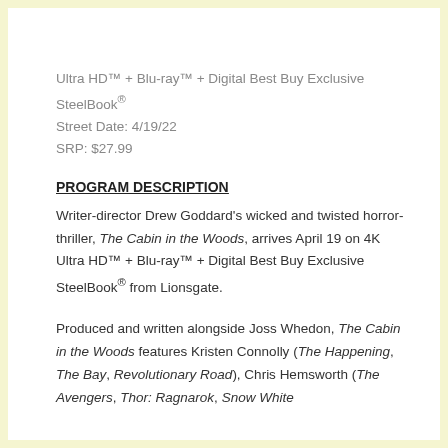Ultra HD™ + Blu-ray™ + Digital Best Buy Exclusive SteelBook®
Street Date: 4/19/22
SRP: $27.99
PROGRAM DESCRIPTION
Writer-director Drew Goddard's wicked and twisted horror-thriller, The Cabin in the Woods, arrives April 19 on 4K Ultra HD™ + Blu-ray™ + Digital Best Buy Exclusive SteelBook® from Lionsgate.
Produced and written alongside Joss Whedon, The Cabin in the Woods features Kristen Connolly (The Happening, The Bay, Revolutionary Road), Chris Hemsworth (The Avengers, Thor: Ragnarok, Snow White